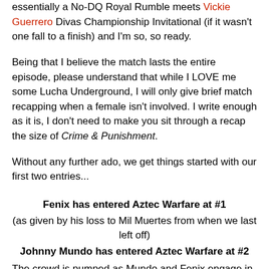essentially a No-DQ Royal Rumble meets Vickie Guerrero Divas Championship Invitational (if it wasn't one fall to a finish) and I'm so, so ready.
Being that I believe the match lasts the entire episode, please understand that while I LOVE me some Lucha Underground, I will only give brief match recapping when a female isn't involved. I write enough as it is, I don't need to make you sit through a recap the size of Crime & Punishment.
Without any further ado, we get things started with our first two entries...
Fenix has entered Aztec Warfare at #1
(as given by his loss to Mil Muertes from when we last left off)
Johnny Mundo has entered Aztec Warfare at #2
The crowd is pumped as Mundo and Fenix engage in a stare off before...